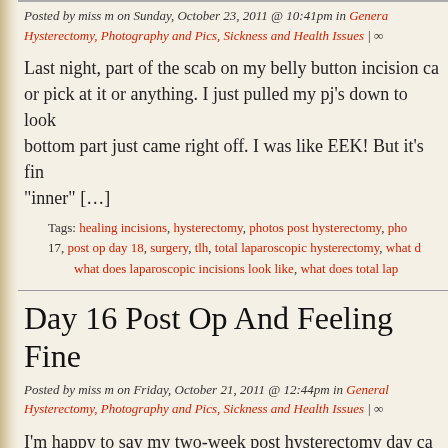Posted by miss m on Sunday, October 23, 2011 @ 10:41pm in General, Hysterectomy, Photography and Pics, Sickness and Health Issues | ∞
Last night, part of the scab on my belly button incision came off — I didn't scratch or pick at it or anything. I just pulled my pj's down to look at it and the bottom part just came right off. I was like EEK! But it's fine… the "inner" […]
Tags: healing incisions, hysterectomy, photos post hysterectomy, photos post op day 17, post op day 18, surgery, tlh, total laparoscopic hysterectomy, what does laparoscopic incisions look like, what does total lap…
Day 16 Post Op And Feeling Fine
Posted by miss m on Friday, October 21, 2011 @ 12:44pm in General, Hysterectomy, Photography and Pics, Sickness and Health Issues | ∞
I'm happy to say my two-week post hysterectomy day came and brought with it a nice relief from pain. My pain has changed from an all-encompassing deep ache to a more shallow general soreness that I managed with ibuprofen and I went the entire day yesterday without a painkiller. Just two […]